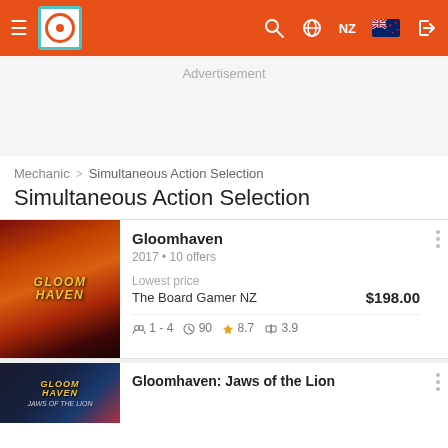≡ [Logo] [Search] [Globe] NZ [Flag] [Login]
Advertisement
Mechanic > Simultaneous Action Selection
Simultaneous Action Selection
Gloomhaven
2017 • 10 offers
Lowest price
The Board Gamer NZ  $198.00
👥 1 - 4  🕐 90  ⭐ 8.7  ⚖ 3.9
Gloomhaven: Jaws of the Lion